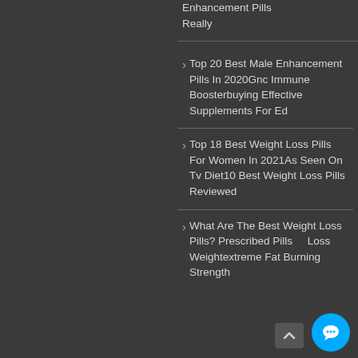Enhancement Pills Really
Top 20 Best Male Enhancement Pills In 2020Gnc Immune Boosterbuying Effective Supplements For Ed
Top 18 Best Weight Loss Pills For Women In 2021As Seen On Tv Diet10 Best Weight Loss Pills Reviewed
What Are The Best Weight Loss Pills? Prescribed Pills For Loss Weightextreme Fat Burning Strength